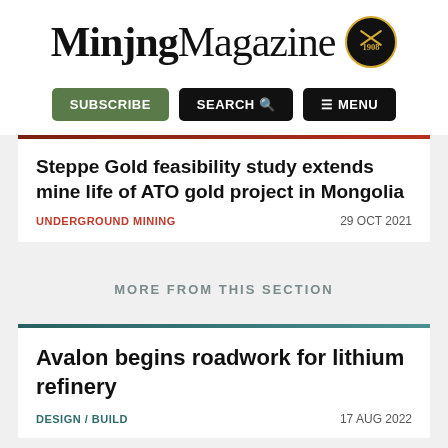[Figure (logo): Mining Magazine logo with pickaxe badge established 1908]
[Figure (screenshot): Navigation bar with SUBSCRIBE, SEARCH, and MENU buttons]
Steppe Gold feasibility study extends mine life of ATO gold project in Mongolia
UNDERGROUND MINING   29 OCT 2021
MORE FROM THIS SECTION
Avalon begins roadwork for lithium refinery
DESIGN / BUILD   17 AUG 2022